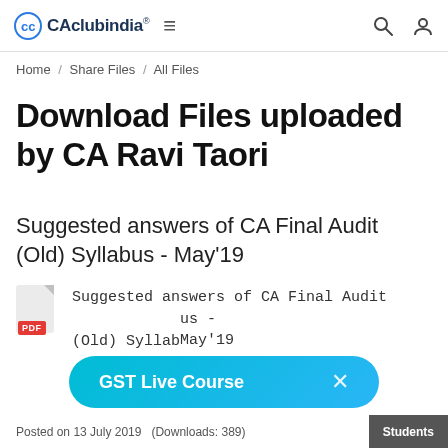CAclubindia® ≡ (search icon) (profile icon)
Home / Share Files / All Files
Download Files uploaded by CA Ravi Taori
Suggested answers of CA Final Audit (Old) Syllabus - May'19
Suggested answers of CA Final Audit (Old) Syllabus - May'19 [PDF]
Posted on 13 July 2019 (Downloads: 389)
GST Live Course ×
Students